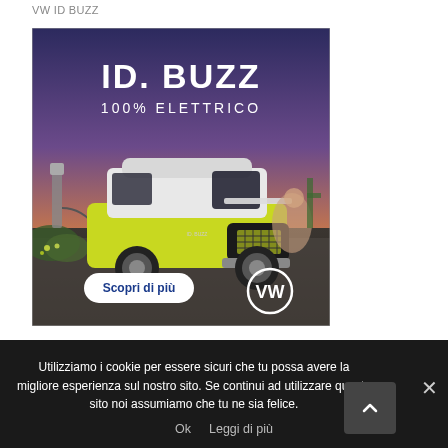VW ID BUZZ
[Figure (photo): Volkswagen ID. Buzz electric van advertisement. Yellow and white VW ID. Buzz electric minivan parked in scenic outdoor setting at dusk. Text overlay reads 'ID. BUZZ 100% ELETTRICO'. White oval button with 'Scopri di più' text on left. VW logo on bottom right.]
Utilizziamo i cookie per essere sicuri che tu possa avere la migliore esperienza sul nostro sito. Se continui ad utilizzare questo sito noi assumiamo che tu ne sia felice.
Ok   Leggi di più